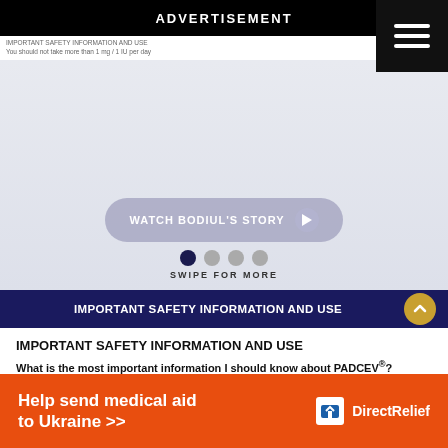ADVERTISEMENT
IMPORTANT SAFETY INFORMATION AND USE
[Figure (screenshot): Carousel slide area with light blue-grey gradient background and a 'WATCH BODIUL'S STORY' button with arrow, dots navigation and SWIPE FOR MORE label]
IMPORTANT SAFETY INFORMATION AND USE
What is the most important information I should know about PADCEV®?
PADCEV may cause serious side effects, including:
Skin reactions. Severe skin reactions have happened in people treated
[Figure (infographic): Orange advertisement banner: Help send medical aid to Ukraine >> with Direct Relief logo]